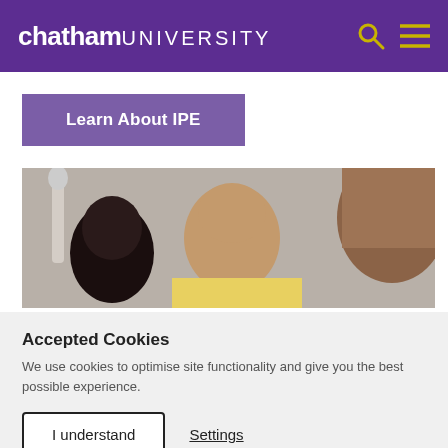chatham UNIVERSITY
Learn About IPE
[Figure (photo): Three people gathered around something, including a person with dark hair, a bald man, and a person with brown hair, with a skeleton model visible in the background]
Accepted Cookies
We use cookies to optimise site functionality and give you the best possible experience.
I understand
Settings